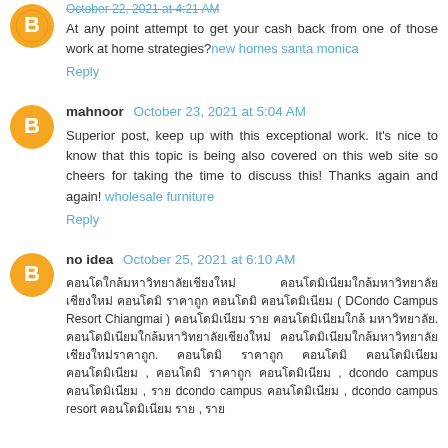At any point attempt to get your cash back from one of those work at home strategies? new homes santa monica
Reply
mahnoor October 23, 2021 at 5:04 AM
Superior post, keep up with this exceptional work. It's nice to know that this topic is being also covered on this web site so cheers for taking the time to discuss this! Thanks again and again! wholesale furniture
Reply
no idea October 25, 2021 at 6:10 AM
[Thai text content about DCondo Campus Resort Chiangmai, dcondo campus, dcondo campus resort]